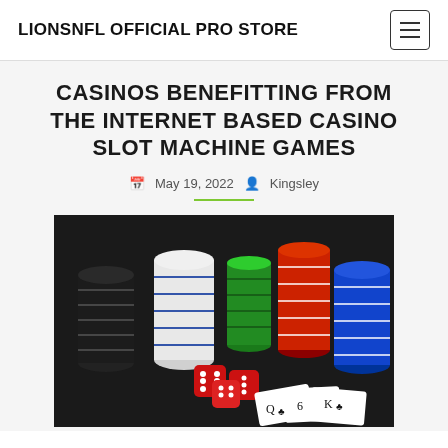LIONSNFL OFFICIAL PRO STORE
CASINOS BENEFITTING FROM THE INTERNET BASED CASINO SLOT MACHINE GAMES
May 19, 2022  Kingsley
[Figure (photo): Photo of stacked casino chips in black, white, green, red, and blue colors, with red dice and playing cards (Q, 6, K) on a dark background]